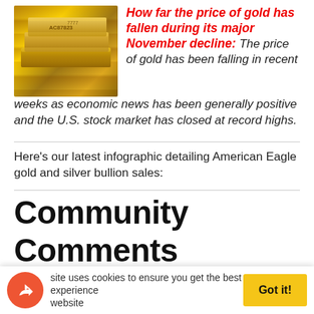[Figure (photo): Stack of gold bars/bullion with text markings]
How far the price of gold has fallen during its major November decline: The price of gold has been falling in recent weeks as economic news has been generally positive and the U.S. stock market has closed at record highs.
Here's our latest infographic detailing American Eagle gold and silver bullion sales:
Community Comments
Comments  Community  🔒  1  Login
♡ Favorite  Sort by Best
This site uses cookies to ensure you get the best experience on our website  Got it!